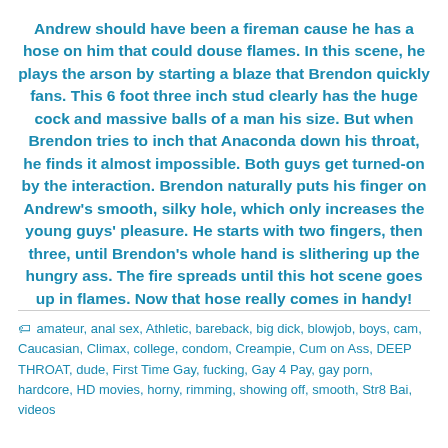Andrew should have been a fireman cause he has a hose on him that could douse flames. In this scene, he plays the arson by starting a blaze that Brendon quickly fans. This 6 foot three inch stud clearly has the huge cock and massive balls of a man his size. But when Brendon tries to inch that Anaconda down his throat, he finds it almost impossible. Both guys get turned-on by the interaction. Brendon naturally puts his finger on Andrew's smooth, silky hole, which only increases the young guys' pleasure. He starts with two fingers, then three, until Brendon's whole hand is slithering up the hungry ass. The fire spreads until this hot scene goes up in flames. Now that hose really comes in handy!
amateur, anal sex, Athletic, bareback, big dick, blowjob, boys, cam, Caucasian, Climax, college, condom, Creampie, Cum on Ass, DEEP THROAT, dude, First Time Gay, fucking, Gay 4 Pay, gay porn, hardcore, HD movies, horny, rimming, showing off, smooth, Str8 Bai, videos